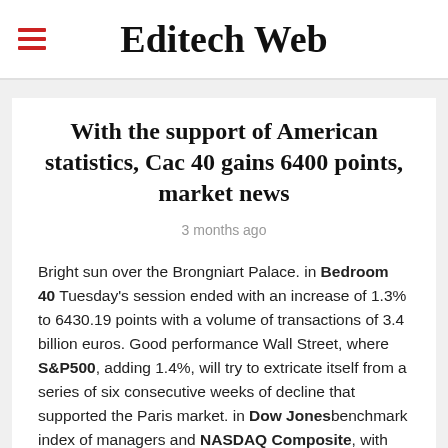Editech Web
With the support of American statistics, Cac 40 gains 6400 points, market news
3 months ago
Bright sun over the Brongniart Palace. in Bedroom 40 Tuesday's session ended with an increase of 1.3% to 6430.19 points with a volume of transactions of 3.4 billion euros. Good performance Wall Street, where S&P500, adding 1.4%, will try to extricate itself from a series of six consecutive weeks of decline that supported the Paris market. in Dow Jonesbenchmark index of managers and NASDAQ Composite, with tech coloring, are also benefiting from bargains after their poor performance in recent